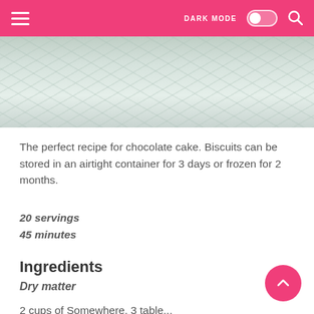≡  DARK MODE  🔘  🔍
[Figure (photo): Close-up top view of a white frosted cake with textured icing surface]
The perfect recipe for chocolate cake. Biscuits can be stored in an airtight container for 3 days or frozen for 2 months.
20 servings
45 minutes
Ingredients
Dry matter
2 cups of Somewhere, 3 tablespoons...